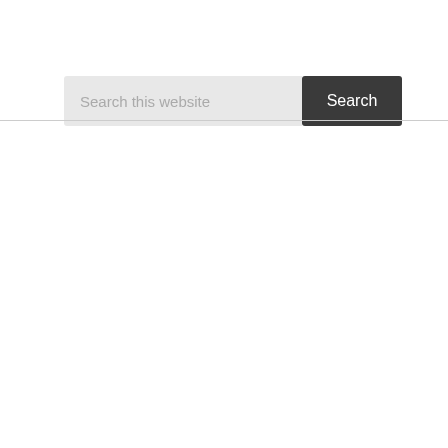[Figure (screenshot): A website search bar with a light gray input field containing placeholder text 'Search this website' and a dark gray button labeled 'Search'. Below the search bar is a thin horizontal divider line.]